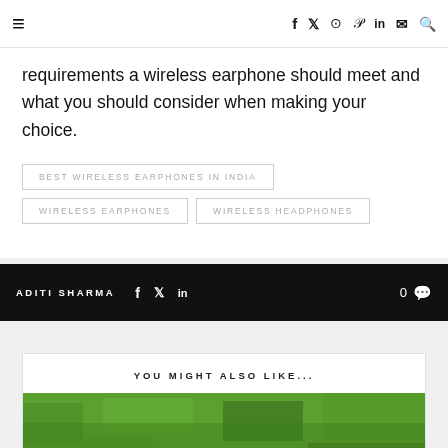≡  [social icons: Facebook, Twitter, Instagram, Pinterest, LinkedIn, Mail, Search]
requirements a wireless earphone should meet and what you should consider when making your choice.
BEST WIRELESS EARPHONES IN INDIA
WIRELESS EARPHONES
WIRELESS HEADPHONES
ADITI SHARMA  [social: f, Twitter, in]  0 [comment icon]
YOU MIGHT ALSO LIKE...
[Figure (photo): Green grass with a dark object partially visible at bottom, beginning of a related article image]